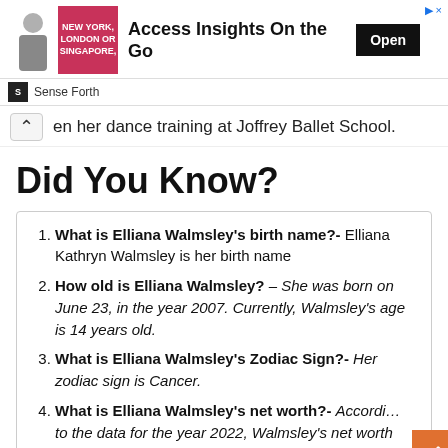[Figure (other): Advertisement banner with image, headline 'Access Insights On the Go', Open button, and Sense Forth branding]
en her dance training at Joffrey Ballet School.
Did You Know?
What is Elliana Walmsley's birth name?- Elliana Kathryn Walmsley is her birth name
How old is Elliana Walmsley? – She was born on June 23, in the year 2007. Currently, Walmsley's age is 14 years old.
What is Elliana Walmsley's Zodiac Sign?- Her zodiac sign is Cancer.
What is Elliana Walmsley's net worth?- According to the data for the year 2022, Walmsley's net worth around $400K